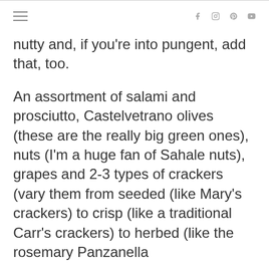hamburger menu | social icons: f, instagram, pinterest, youtube
nutty and, if you're into pungent, add that, too.
An assortment of salami and prosciutto, Castelvetrano olives (these are the really big green ones), nuts (I'm a huge fan of Sahale nuts), grapes and 2-3 types of crackers (vary them from seeded (like Mary's crackers) to crisp (like a traditional Carr's crackers) to herbed (like the rosemary Panzanella